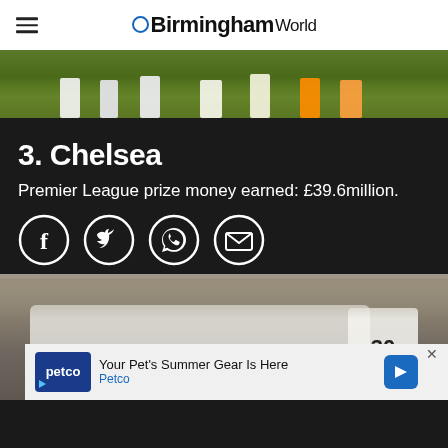BirminghamWorld
[Figure (photo): Football players' legs and boots on a grass pitch, partial view from low angle]
3. Chelsea
Premier League prize money earned: £39.6million.
[Figure (infographic): Social share icons: Facebook, Twitter, WhatsApp, Email]
[Figure (photo): Football players in white jerseys celebrating with crowd in background, player number 30 visible]
Your Pet's Summer Gear Is Here Petco